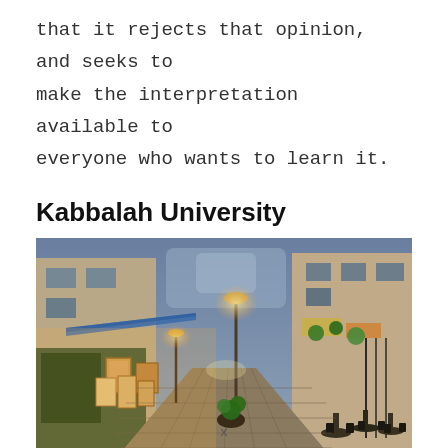that it rejects that opinion, and seeks to make the interpretation available to everyone who wants to learn it.
Kabbalah University
[Figure (photo): A picturesque cobblestone alley at dusk lined with stone buildings, illuminated shop fronts with artwork displays, hanging plants, cafe seating, and warm golden street lights stretching into the distance.]
x